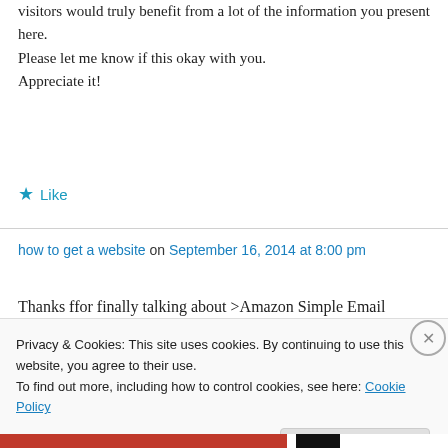visitors would truly benefit from a lot of the information you present here. Please let me know if this okay with you. Appreciate it!
★ Like
how to get a website on September 16, 2014 at 8:00 pm
Thanks ffor finally talking about >Amazon Simple Email Service |
Privacy & Cookies: This site uses cookies. By continuing to use this website, you agree to their use.
To find out more, including how to control cookies, see here: Cookie Policy
Close and accept